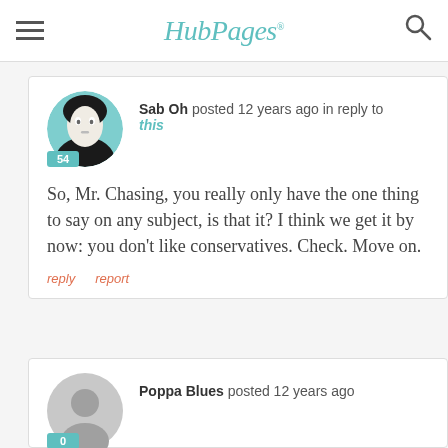HubPages
Sab Oh posted 12 years ago in reply to this

So, Mr. Chasing, you really only have the one thing to say on any subject, is that it? I think we get it by now: you don't like conservatives. Check. Move on.
reply   report
Poppa Blues posted 12 years ago